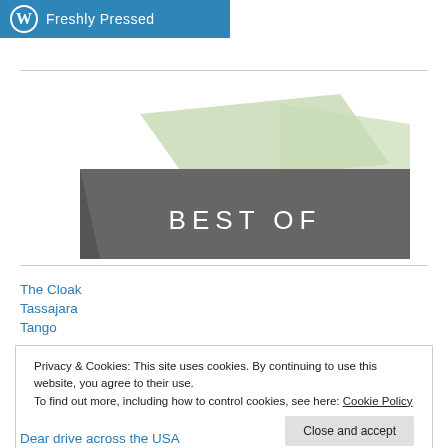[Figure (logo): WordPress Freshly Pressed banner with W logo on blue background]
[Figure (illustration): Best Of banner with light green parallelogram shapes over a dark gray banner with white text reading BEST OF]
The Cloak
Tassajara
Tango
Privacy & Cookies: This site uses cookies. By continuing to use this website, you agree to their use. To find out more, including how to control cookies, see here: Cookie Policy
Dear drive across the USA